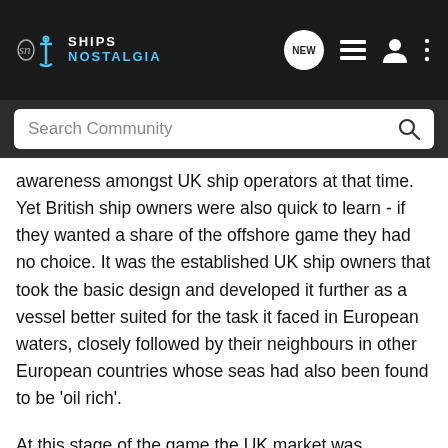Ships Nostalgia — navigation bar with logo, NEW button, list icon, user icon, more icon
Search Community
awareness amongst UK ship operators at that time. Yet British ship owners were also quick to learn - if they wanted a share of the offshore game they had no choice. It was the established UK ship owners that took the basic design and developed it further as a vessel better suited for the task it faced in European waters, closely followed by their neighbours in other European countries whose seas had also been found to be 'oil rich'.
At this stage of the game the UK market was dominated by the old British traditional 'deep sea' ship owner with fleets such as Cunard, Blue Star and Blue Funnel being amongst the largest operators, best known at that time under their 'offshore' names of Offshore Marine, Star Offshore Marine Services and Ocean Inchcape respectively.